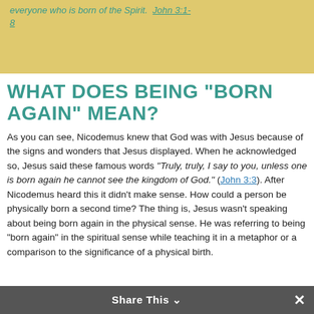everyone who is born of the Spirit. John 3:1-8
WHAT DOES BEING “BORN AGAIN” MEAN?
As you can see, Nicodemus knew that God was with Jesus because of the signs and wonders that Jesus displayed. When he acknowledged so, Jesus said these famous words “Truly, truly, I say to you, unless one is born again he cannot see the kingdom of God.” (John 3:3). After Nicodemus heard this it didn’t make sense. How could a person be physically born a second time? The thing is, Jesus wasn’t speaking about being born again in the physical sense. He was referring to being “born again” in the spiritual sense while teaching it in a metaphor or a comparison to the significance of a physical birth.
Share This ⌄  ×